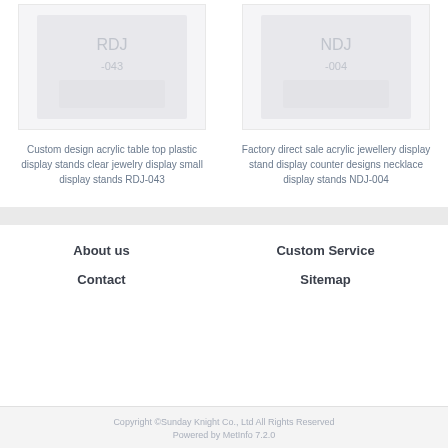[Figure (photo): Product image placeholder for custom design acrylic table top plastic display stands]
Custom design acrylic table top plastic display stands clear jewelry display small display stands RDJ-043
[Figure (photo): Product image placeholder for factory direct sale acrylic jewellery display stand]
Factory direct sale acrylic jewellery display stand display counter designs necklace display stands NDJ-004
About us
Custom Service
Contact
Sitemap
Copyright ©Sunday Knight Co., Ltd All Rights Reserved
Powered by MetInfo 7.2.0